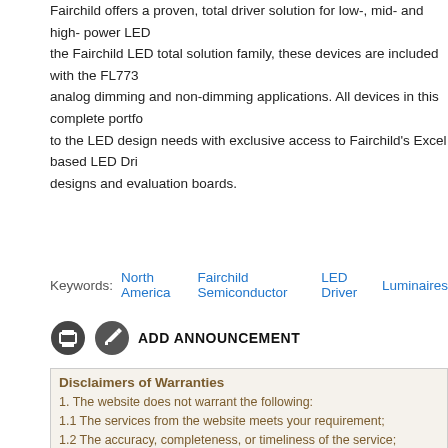Fairchild offers a proven, total driver solution for low-, mid- and high- power LED… the Fairchild LED total solution family, these devices are included with the FL773… analog dimming and non-dimming applications. All devices in this complete portfo… to the LED design needs with exclusive access to Fairchild's Excel based LED Dri… designs and evaluation boards.
Keywords: North America   Fairchild Semiconductor   LED Driver   Luminaires
ADD ANNOUNCEMENT
Disclaimers of Warranties
1. The website does not warrant the following:
1.1 The services from the website meets your requirement;
1.2 The accuracy, completeness, or timeliness of the service;
1.3 The accuracy, reliability of conclusions drawn from using the service;
1.4 The accuracy, completeness, or timeliness, or security of any information tha…
2. The services provided by the website is intended for your reference only. The… investment decisions, damages, or other losses resulting from use of the websit…
Proprietary Rights
You may not reproduce, modify, create derivative works from, display, perform…